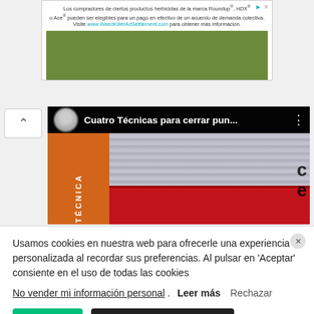[Figure (screenshot): Advertisement banner for Roundup/HDX/Ace herbicide class action lawsuit settlement with weed killer imagery]
[Figure (screenshot): Video thumbnail showing knitting/crochet techniques with title 'Cuatro Técnicas para cerrar pun...']
Usamos cookies en nuestra web para ofrecerle una experiencia personalizada al recordar sus preferencias. Al pulsar en 'Aceptar' consiente en el uso de todas las cookies
No vender mi información personal. Leer más Rechazar
Aceptar
Configuración de cookies